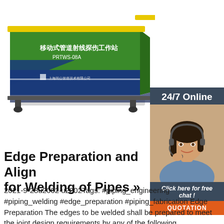[Figure (illustration): 3D render of a green and blue shipping container labeled '移动式管道射线探伤工作站 PRTWS-08A' with yellow crane hook attachment on top, mounted on rails/flatbed.]
[Figure (photo): Sidebar ad: Dark blue background with '24/7 Online' header, photo of smiling woman with headset (customer service), text 'Click here for free chat!' and orange QUOTATION button.]
Edge Preparation and Alignment for Welding of Pipes »
2021-9-28u2002·u2002Tags: #piping_engineering #piping_welding #edge_preparation #piping_fabrication Edge Preparation The edges to be welded shall be prepared to meet the joint design requirements by any of the following